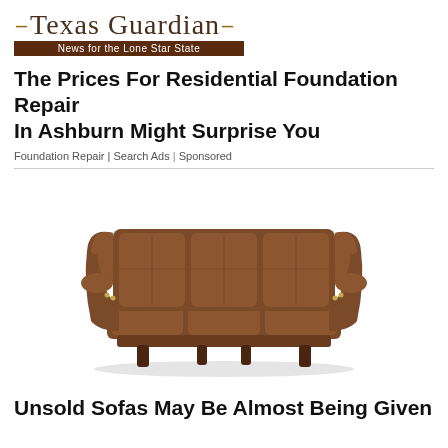Texas Guardian — News for the Lone Star State
The Prices For Residential Foundation Repair In Ashburn Might Surprise You
Foundation Repair | Search Ads | Sponsored
[Figure (photo): Brown leather wingback sofa with rolled arms and wooden legs on white background]
Unsold Sofas May Be Almost Being Given